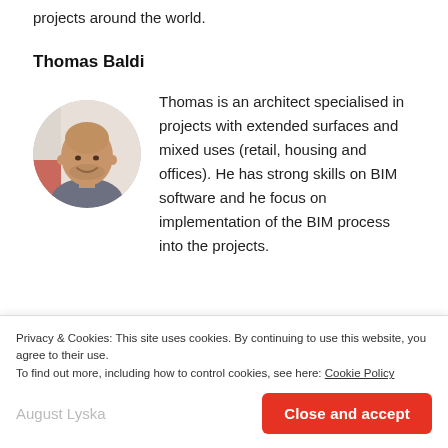projects around the world.
Thomas Baldi
[Figure (photo): Circular headshot photo of Thomas Baldi, a bald man in a grey shirt, smiling, with a blurred office background.]
Thomas is an architect specialised in projects with extended surfaces and mixed uses (retail, housing and offices). He has strong skills on BIM software and he focus on implementation of the BIM process into the projects.
Privacy & Cookies: This site uses cookies. By continuing to use this website, you agree to their use.
To find out more, including how to control cookies, see here: Cookie Policy
August Lyska
Close and accept